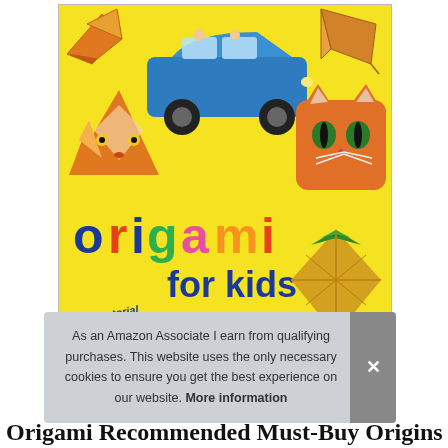[Figure (illustration): Book cover for 'Origami for Kids' on a bright yellow background, featuring colorful origami animals (fox, cat, bird, pineapple, dragon) and a blue car, with colorful 'origami' logo text and 'for kids' subtitle, plus '20 Projects to Make Plus' banner in dark blue]
As an Amazon Associate I earn from qualifying purchases. This website uses the only necessary cookies to ensure you get the best experience on our website. More information
Origami Recommended Must-Buy Origins i